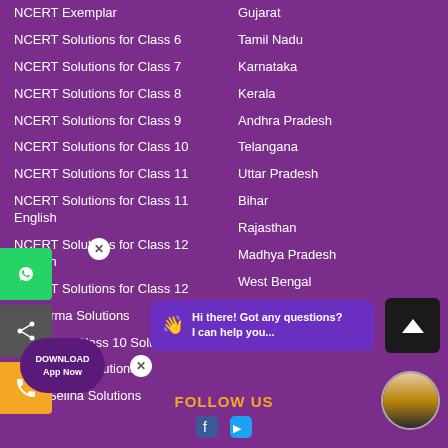NCERT Exemplar
NCERT Solutions for Class 6
NCERT Solutions for Class 7
NCERT Solutions for Class 8
NCERT Solutions for Class 9
NCERT Solutions for Class 10
NCERT Solutions for Class 11
NCERT Solutions for Class 11 English
NCERT Solutions for Class 12 English
NCERT Solutions for Class 12
D Sharma Solutions
D Sharma Class 10 Solutions
S Aggarwal Solutions
ICSE Selina Solutions
Gujarat
Tamil Nadu
Karnataka
Kerala
Andhra Pradesh
Telangana
Uttar Pradesh
Bihar
Rajasthan
Madhya Pradesh
West Bengal
FOLLOW US